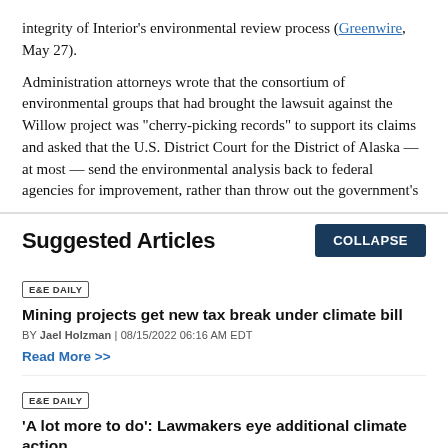integrity of Interior's environmental review process (Greenwire, May 27).
Administration attorneys wrote that the consortium of environmental groups that had brought the lawsuit against the Willow project was "cherry-picking records" to support its claims and asked that the U.S. District Court for the District of Alaska — at most — send the environmental analysis back to federal agencies for improvement, rather than throw out the government's
Suggested Articles
E&E DAILY
Mining projects get new tax break under climate bill
BY Jael Holzman | 08/15/2022 06:16 AM EDT
Read More >>
E&E DAILY
'A lot more to do': Lawmakers eye additional climate action